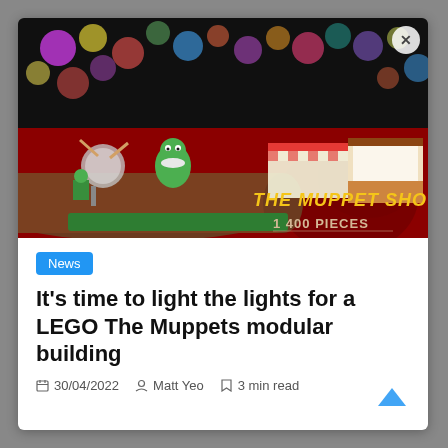[Figure (photo): LEGO The Muppet Show set promotional image featuring Kermit the Frog LEGO figure on a stage-like set with red background, text reads THE MUPPET SHOW and 1400 PIECES]
News
It's time to light the lights for a LEGO The Muppets modular building
30/04/2022   Matt Yeo   3 min read